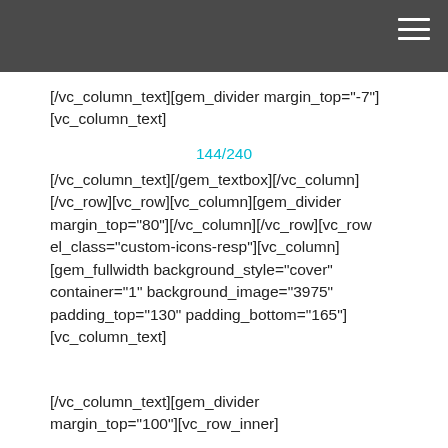[/vc_column_text][gem_divider margin_top="-7"] [vc_column_text]
144/240
[/vc_column_text][/gem_textbox][/vc_column][/vc_row][vc_row][vc_column][gem_divider margin_top="80"][/vc_column][/vc_row][vc_row el_class="custom-icons-resp"][vc_column][gem_fullwidth background_style="cover" container="1" background_image="3975" padding_top="130" padding_bottom="165"][vc_column_text]
[/vc_column_text][gem_divider margin_top="100"][vc_row_inner]